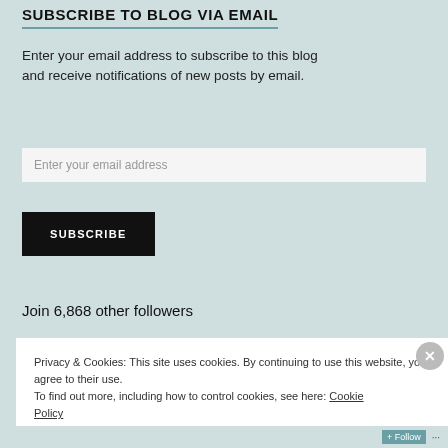SUBSCRIBE TO BLOG VIA EMAIL
Enter your email address to subscribe to this blog and receive notifications of new posts by email.
Enter your email address
SUBSCRIBE
Join 6,868 other followers
Privacy & Cookies: This site uses cookies. By continuing to use this website, you agree to their use.
To find out more, including how to control cookies, see here: Cookie Policy
Close and accept